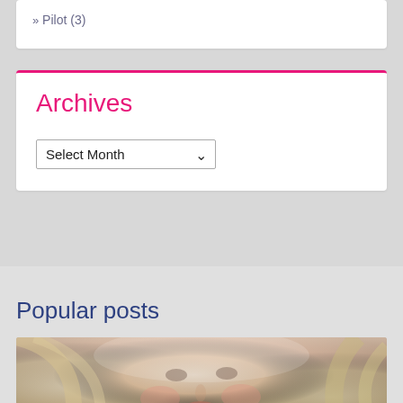» Pilot (3)
Archives
Select Month
Popular posts
[Figure (photo): Close-up photo of a blonde woman lying down, looking at the camera with subtle makeup and warm skin tones]